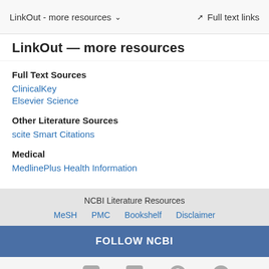LinkOut - more resources   Full text links
LinkOut - more resources
Full Text Sources
ClinicalKey
Elsevier Science
Other Literature Sources
scite Smart Citations
Medical
MedlinePlus Health Information
NCBI Literature Resources  MeSH  PMC  Bookshelf  Disclaimer
FOLLOW NCBI